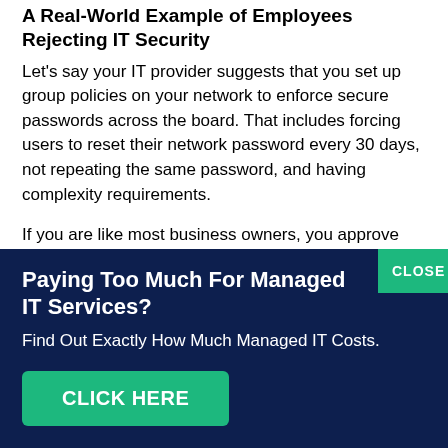A Real-World Example of Employees Rejecting IT Security
Let's say your IT provider suggests that you set up group policies on your network to enforce secure passwords across the board. That includes forcing users to reset their network password every 30 days, not repeating the same password, and having complexity requirements.
If you are like most business owners, you approve the change and move on. IT implements the change, and suddenly your employees start getting prompted to change their passwords. It's likely some users are
[Figure (infographic): Dark navy blue popup/banner overlay at bottom of page. Contains bold white heading 'Paying Too Much For Managed IT Services?', white subtext 'Find Out Exactly How Much Managed IT Costs.', a green 'CLICK HERE' button, and a green 'CLOSE' button in the top-right corner.]